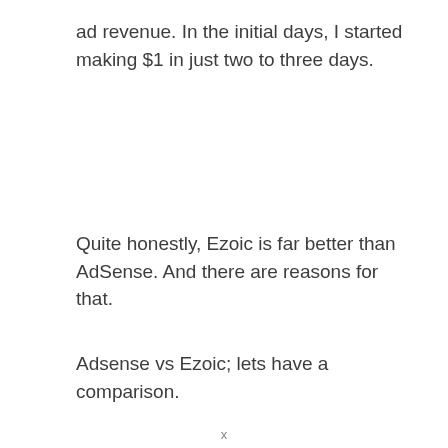ad revenue. In the initial days, I started making $1 in just two to three days.
Quite honestly, Ezoic is far better than AdSense. And there are reasons for that.
Adsense vs Ezoic; lets have a comparison.